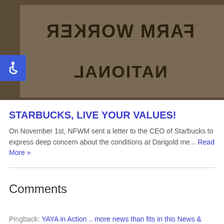[Figure (photo): Photograph of a sign with mirrored/reversed text reading 'NATIONAL FARM WORKER', shown upside-down or reflected. Dark brown/tan tones. An accessibility wheelchair icon badge is overlaid in the lower-left corner in blue.]
STARBUCKS, LIVE YOUR VALUES!
On November 1st, NFWM sent a letter to the CEO of Starbucks to express deep concern about the conditions at Darigold me... Read More »
Comments
Pingback: YAYA in Action .. more news than fits in this News & Views : National Farm Worker Ministry